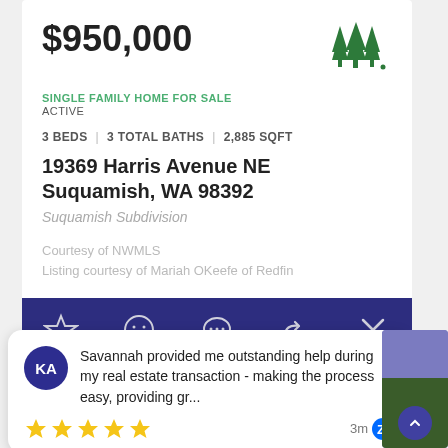$950,000
SINGLE FAMILY HOME FOR SALE
ACTIVE
3 BEDS | 3 TOTAL BATHS | 2,885 SQFT
19369 Harris Avenue NE
Suquamish, WA 98392
Suquamish Subdivision
Courtesy of NWMLS
Listing courtesy of Mariah OKeefe of Redfin
Savannah provided me outstanding help during my real estate transaction - making the process easy, providing gr...
★★★★★ 3m